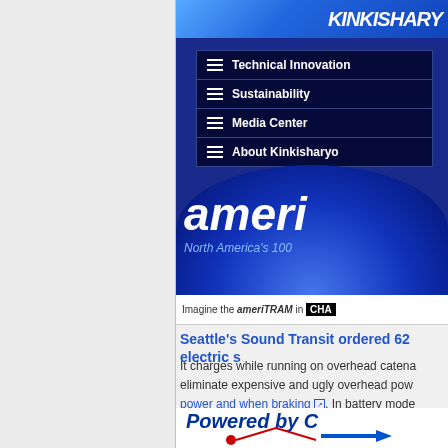[Figure (screenshot): Screenshot of Kinkisharyo website showing navigation menu with Technical Innovation, Sustainability, Media Center, About Kinkisharyo items on a dark blue background, with 'ameri' logo text and 'North America's 100' subtitle visible]
Imagine the ameriTRAM in CHA
Seattle's Sound Transit ordered 62 electric s
It charges while running on overhead catena eliminate expensive and ugly overhead pow power and when braking. In battery mode
[Figure (screenshot): Screenshot showing 'Powered by C' text in bold blue italic with a diagram below showing arrows and lines in red and blue]